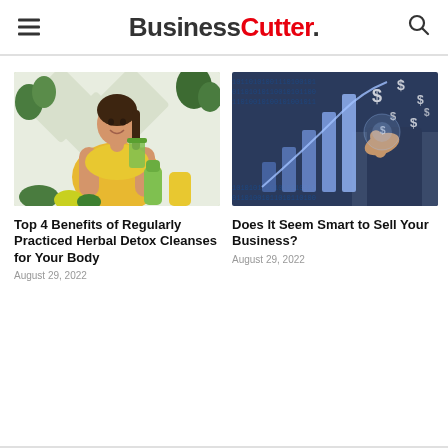BusinessCutter.
[Figure (photo): Woman in yellow sports top holding a green juice smoothie, surrounded by vegetables and greens on a white background.]
Top 4 Benefits of Regularly Practiced Herbal Detox Cleanses for Your Body
August 29, 2022
[Figure (photo): Person in a suit pointing at a rising bar chart graphic with dollar signs floating around, digital finance concept.]
Does It Seem Smart to Sell Your Business?
August 29, 2022